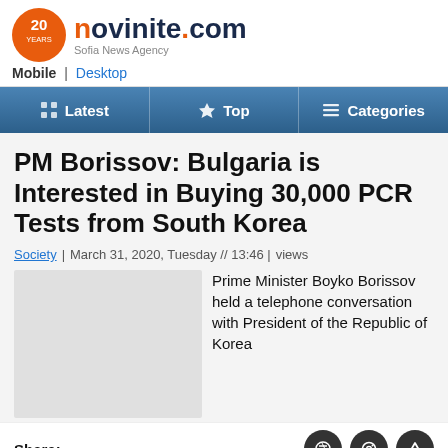novinite.com Sofia News Agency
Mobile | Desktop
Latest | Top | Categories
PM Borissov: Bulgaria is Interested in Buying 30,000 PCR Tests from South Korea
Society | March 31, 2020, Tuesday // 13:46 | views
[Figure (photo): Placeholder image for article photo]
Prime Minister Boyko Borissov held a telephone conversation with President of the Republic of Korea